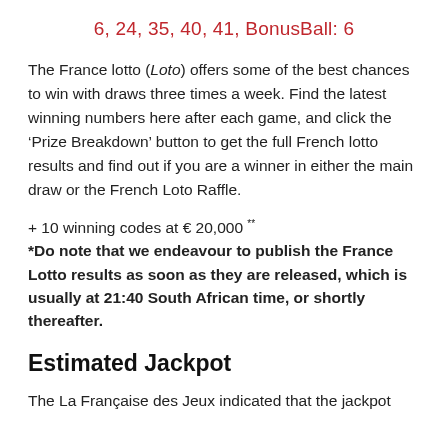6, 24, 35, 40, 41, BonusBall: 6
The France lotto (Loto) offers some of the best chances to win with draws three times a week. Find the latest winning numbers here after each game, and click the ‘Prize Breakdown’ button to get the full French lotto results and find out if you are a winner in either the main draw or the French Loto Raffle.
+ 10 winning codes at € 20,000 **
*Do note that we endeavour to publish the France Lotto results as soon as they are released, which is usually at 21:40 South African time, or shortly thereafter.
Estimated Jackpot
The La Française des Jeux indicated that the jackpot